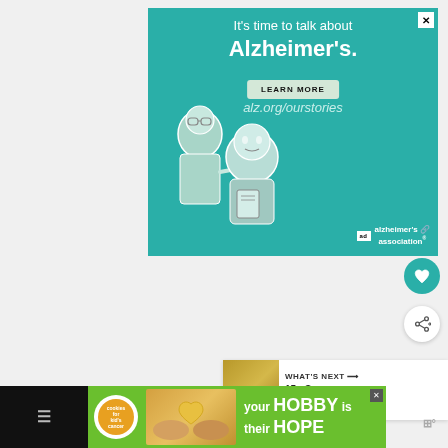[Figure (illustration): Alzheimer's Association advertisement on teal background. Text reads 'It's time to talk about Alzheimer's.' with a LEARN MORE button, alz.org/ourstories URL, illustration of two elderly people, and Alzheimer's Association logo with 'ad' badge. Close X button in top right corner.]
[Figure (other): Circular teal heart/save button with white heart icon on right side of page]
[Figure (other): Circular white share button with network share icon]
[Figure (other): What's Next panel showing thumbnail and '15+ Songs about Kansa...' text]
[Figure (illustration): Bottom advertisement for 'cookies for kid's cancer' charity. Green background with cookie logo badge, photo of hands holding heart-shaped cookie, text 'your HOBBY is their HOPE']